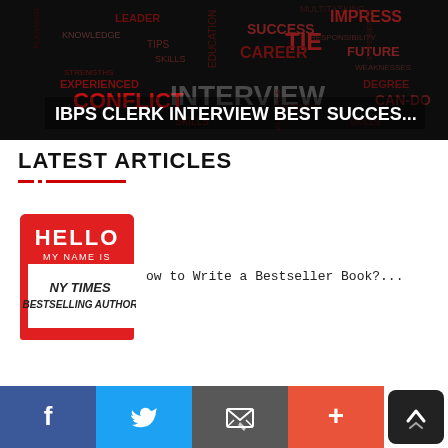[Figure (photo): Dark word cloud image with interview/career related words. Overlaid text reads: IBPS CLERK INTERVIEW BEST SUCCES...]
LATEST ARTICLES
[Figure (illustration): Hello My Name Is nametag sticker with NY TIMES BESTSELLING AUTHOR written below]
ow to Write a Bestseller Book?...
Social sharing bar: Facebook, Twitter, Email, Plus, Back to top